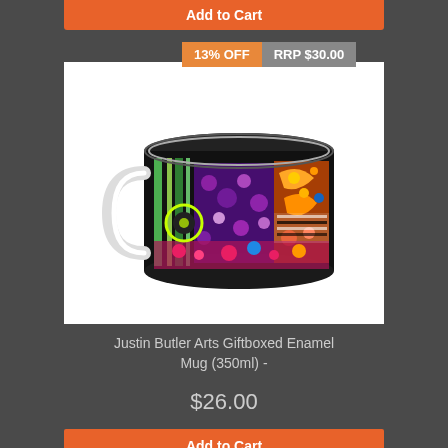Add to Cart
[Figure (photo): Justin Butler Arts Giftboxed Enamel Mug (350ml) with colorful Aboriginal-style pattern. Badges show 13% OFF and RRP $30.00.]
Justin Butler Arts Giftboxed Enamel Mug (350ml) -
$26.00
Add to Cart